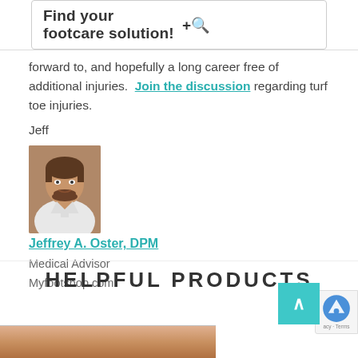Find your footcare solution!
forward to, and hopefully a long career free of additional injuries. Join the discussion regarding turf toe injuries.
Jeff
[Figure (photo): Headshot photo of Jeffrey A. Oster, DPM, a man with a mustache and beard wearing a white coat]
Jeffrey A. Oster, DPM
Medical Advisor
Myfootshop.com
HELPFUL PRODUCTS